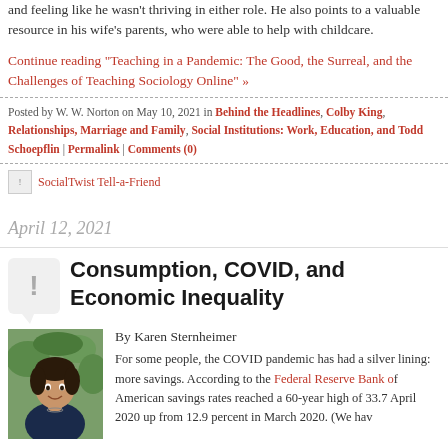and feeling like he wasn't thriving in either role. He also points to a valuable resource in his wife's parents, who were able to help with childcare.
Continue reading "Teaching in a Pandemic: The Good, the Surreal, and the Challenges of Teaching Sociology Online" »
Posted by W. W. Norton on May 10, 2021 in Behind the Headlines, Colby King, Relationships, Marriage and Family, Social Institutions: Work, Education, and Todd Schoepflin | Permalink | Comments (0)
[Figure (logo): SocialTwist Tell-a-Friend button with small icon]
April 12, 2021
Consumption, COVID, and Economic Inequality
By Karen Sternheimer
For some people, the COVID pandemic has had a silver lining: more savings. According to the Federal Reserve Bank of American savings rates reached a 60-year high of 33.7 April 2020 up from 12.9 percent in March 2020. (We hav